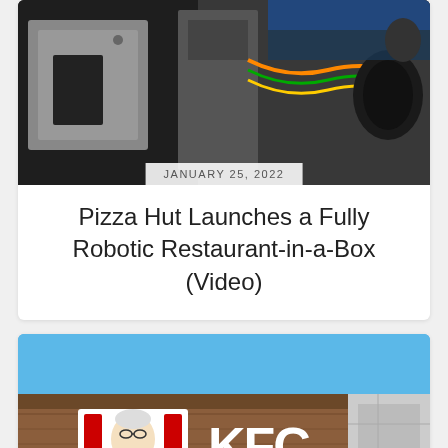[Figure (photo): Industrial robotic kitchen equipment, metallic machinery with wires and components, partial view of a person in background]
JANUARY 25, 2022
Pizza Hut Launches a Fully Robotic Restaurant-in-a-Box (Video)
[Figure (photo): KFC restaurant exterior sign with Colonel Sanders logo on brown wood-paneled facade against blue sky, white KFC lettering]